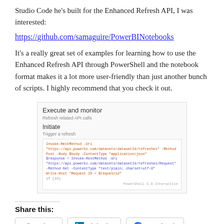Studio Code he’s built for the Enhanced Refresh API, I was interested:
https://github.com/samaguire/PowerBINotebooks
It’s a really great set of examples for learning how to use the Enhanced Refresh API through PowerShell and the notebook format makes it a lot more user-friendly than just another bunch of scripts. I highly recommend that you check it out.
[Figure (screenshot): Screenshot of a notebook interface showing 'Execute and monitor' heading, 'Refresh related API calls' subtitle, 'Initiate' subheading, 'Trigger a refresh' text, and a PowerShell code block with colored syntax.]
Share this:
Twitter  LinkedIn  Facebook
Like this:
Like  [avatars]